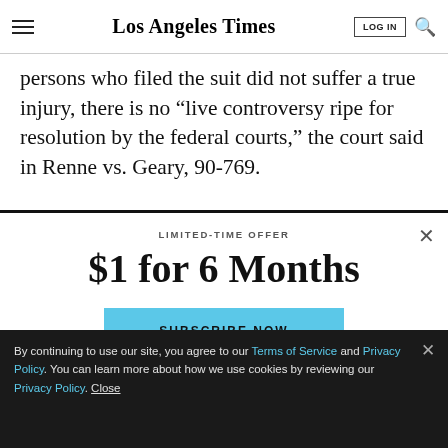Los Angeles Times | LOG IN | Search
persons who filed the suit did not suffer a true injury, there is no “live controversy ripe for resolution by the federal courts,” the court said in Renne vs. Geary, 90-769.
LIMITED-TIME OFFER
$1 for 6 Months
SUBSCRIBE NOW
By continuing to use our site, you agree to our Terms of Service and Privacy Policy. You can learn more about how we use cookies by reviewing our Privacy Policy. Close